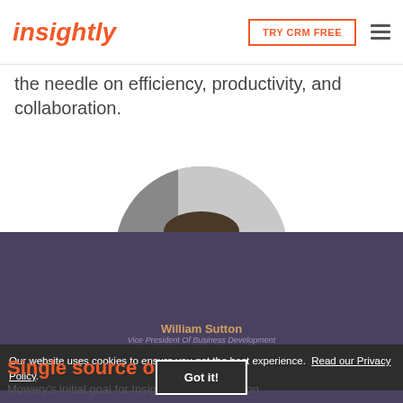insightly | TRY CRM FREE
the needle on efficiency, productivity, and collaboration.
[Figure (photo): Black and white circular headshot of William Sutton, a man in a collared shirt smiling at the camera]
William Sutton
Vice President Of Business Development
Our website uses cookies to ensure you get the best experience.  Read our Privacy Policy.
Single source of truth
Mowery's initial goal for Insightly was focused on